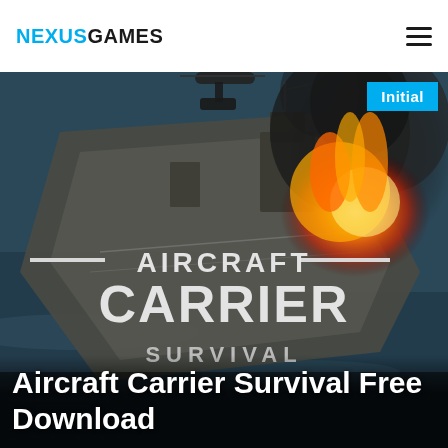NEXUSGAMES
[Figure (screenshot): Aerial view of an aircraft carrier at sea with a large fire and explosion on deck, overlaid with the game title text '— AIRCRAFT CARRIER — SURVIVAL' in large bold white letters]
Initial
Aircraft Carrier Survival Free Download